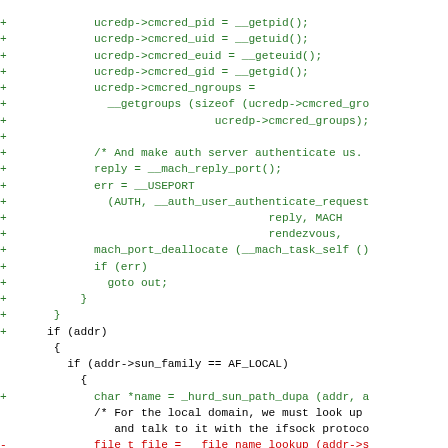[Figure (other): A code diff snippet showing C source code additions (green lines with +) and deletions (red lines with -), involving ucredp credential fields, mach port operations, and file name lookup logic.]